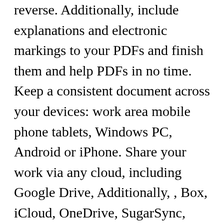reverse. Additionally, include explanations and electronic markings to your PDFs and finish them and help PDFs in no time. Keep a consistent document across your devices: work area mobile phone tablets, Windows PC, Android or iPhone. Share your work via any cloud, including Google Drive, Additionally, , Box, iCloud, OneDrive, SugarSync, WebDAV, MobiSystems Drive and more. OfficeSuite 11.8 Activation Key the office or in a rush you can complete important day-to-day tasks quickly, such as following changes such as printing documents, notes and notes, as well as changing hyperlinks. You will also have a range of alternatives that are possible to try, particularly if you are an individual client. It